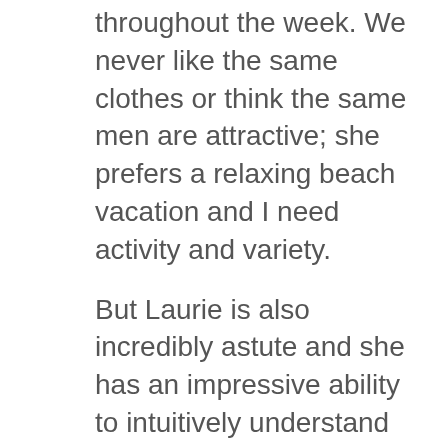throughout the week. We never like the same clothes or think the same men are attractive; she prefers a relaxing beach vacation and I need activity and variety.
But Laurie is also incredibly astute and she has an impressive ability to intuitively understand people. She is so clever about the way she sees the world and she can see me as no one else in my life can. We have a connection that I don't have with anyone else; I can't bullshit her even though I've tried.
She is sympathetic without being